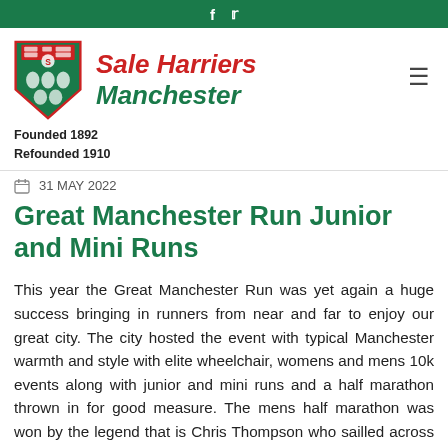f  t
[Figure (logo): Sale Harriers Manchester club shield logo with text 'Sale Harriers Manchester' in red and green italic bold font]
Founded 1892
Refounded 1910
31 MAY 2022
Great Manchester Run Junior and Mini Runs
This year the Great Manchester Run was yet again a huge success bringing in runners from near and far to enjoy our great city. The city hosted the event with typical Manchester warmth and style with elite wheelchair, womens and mens 10k events along with junior and mini runs and a half marathon thrown in for good measure. The mens half marathon was won by the legend that is Chris Thompson who sailled across the line in 1:04:29 at the age of 41. In the womens race Sarah Webster, sister of our very own Tim Kennedy ran superbly to